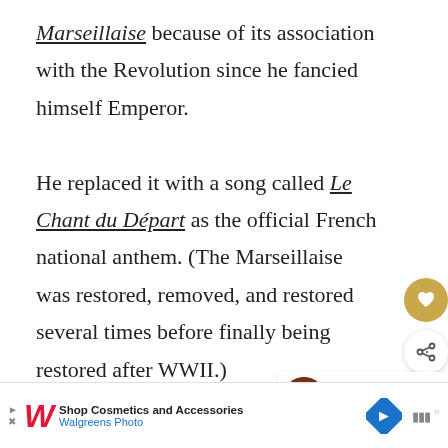Marseillaise because of its association with the Revolution since he fancied himself Emperor. He replaced it with a song called Le Chant du Départ as the official French national anthem. (The Marseillaise was restored, removed, and restored several times before finally being restored after WWII.)
[Figure (other): Heart/favorite button (gold circle with heart icon) and share button (white circle with share icon) overlaid on the text content area]
[Figure (photo): What's Next card showing a portrait of Emperor Napoleon III with label 'WHAT'S NEXT →' and title 'Emperor Napoleon III ...']
[Figure (other): Advertisement banner: Walgreens Photo - Shop Cosmetics and Accessories]